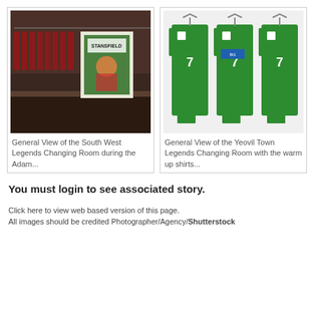[Figure (photo): General View of a changing room with red shirts hanging and a Stansfield poster in the center]
[Figure (photo): Three green Yeovil Town warm-up shirts with number 7 and Stansfield name hanging on a rack]
General View of the South West Legends Changing Room during the Adam...
General View of the Yeovil Town Legends Changing Room with the warm up shirts...
You must login to see associated story.
Click here to view web based version of this page.
All images should be credited Photographer/Agency/Shutterstock